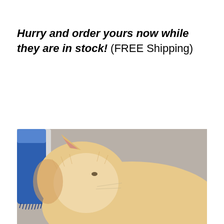Hurry and order yours now while they are in stock! (FREE Shipping)
[Figure (photo): A fluffy light-colored cat rubbing its face against a blue wall-mounted cat self-grooming brush. The brush is mounted on a white surface in the upper left. The cat's ear, fur, and face are visible pressing into the blue bristles. Background is grey/beige.]